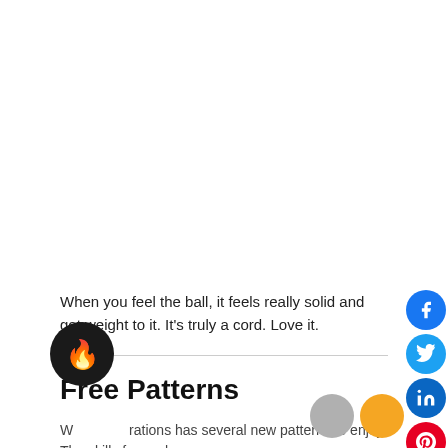When you feel the ball, it feels really solid and got weight to it. It's truly a cord. Love it.
Free Patterns
W...rations has several new patterns to enjoy. The skills for each vary.